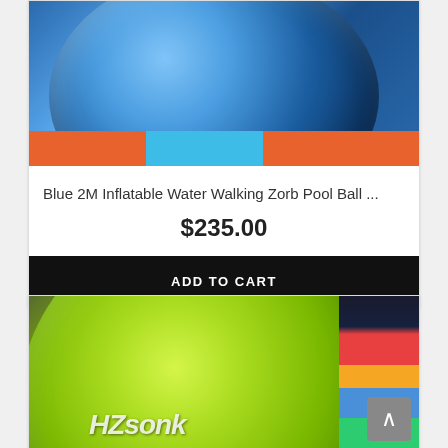[Figure (photo): Blue inflatable water walking zorb ball, large transparent blue sphere resting on colored mat floor]
Blue 2M Inflatable Water Walking Zorb Pool Ball ...
$235.00
ADD TO CART
[Figure (photo): Green inflatable zorb ball with brand logo text visible, colorful background with red, orange, blue bars on the right side]